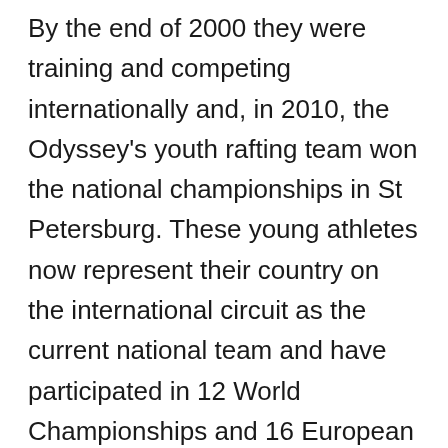By the end of 2000 they were training and competing internationally and, in 2010, the Odyssey's youth rafting team won the national championships in St Petersburg. These young athletes now represent their country on the international circuit as the current national team and have participated in 12 World Championships and 16 European Championships. Hearing their story, I became more aware of how gear and coaches, even a sport can be taken for granted for in Canada. In Russia, to be an athlete and to represent your region is an honor.